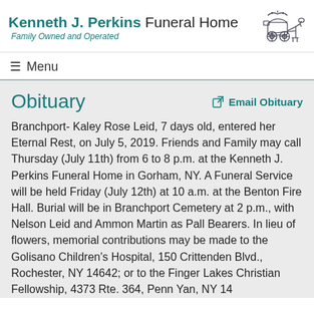Kenneth J. Perkins Funeral Home — Family Owned and Operated
Menu
Obituary
Email Obituary
Branchport- Kaley Rose Leid, 7 days old, entered her Eternal Rest, on July 5, 2019. Friends and Family may call Thursday (July 11th) from 6 to 8 p.m. at the Kenneth J. Perkins Funeral Home in Gorham, NY. A Funeral Service will be held Friday (July 12th) at 10 a.m. at the Benton Fire Hall. Burial will be in Branchport Cemetery at 2 p.m., with Nelson Leid and Ammon Martin as Pall Bearers. In lieu of flowers, memorial contributions may be made to the Golisano Children's Hospital, 150 Crittenden Blvd., Rochester, NY 14642; or to the Finger Lakes Christian Fellowship, 4373 Rte. 364, Penn Yan, NY 14